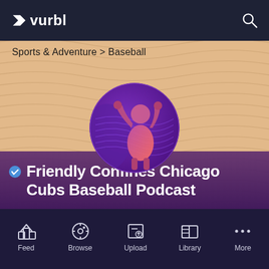vurbl
Sports & Adventure  >  Baseball
[Figure (illustration): Circular podcast logo showing a baseball player with arms raised against a purple and pink gradient background]
Friendly Confines Chicago Cubs Baseball Podcast
Feed  Browse  Upload  Library  More